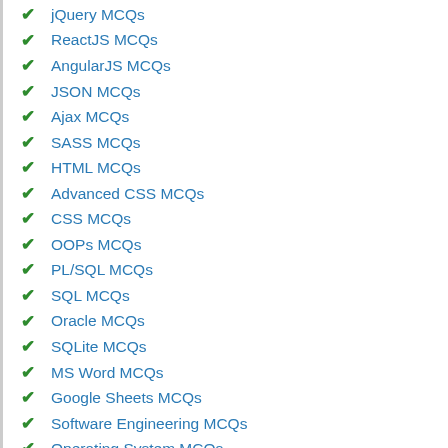jQuery MCQs
ReactJS MCQs
AngularJS MCQs
JSON MCQs
Ajax MCQs
SASS MCQs
HTML MCQs
Advanced CSS MCQs
CSS MCQs
OOPs MCQs
PL/SQL MCQs
SQL MCQs
Oracle MCQs
SQLite MCQs
MS Word MCQs
Google Sheets MCQs
Software Engineering MCQs
Operating System MCQs
Data Analytics and Visualization MCQs